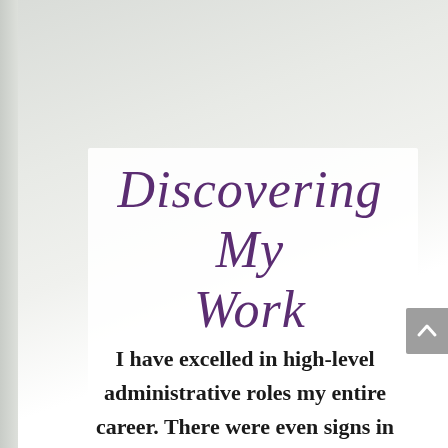Discovering My Work
I have excelled in high-level administrative roles my entire career. There were even signs in childhood, such as when my 5th-grade teacher asked me to help